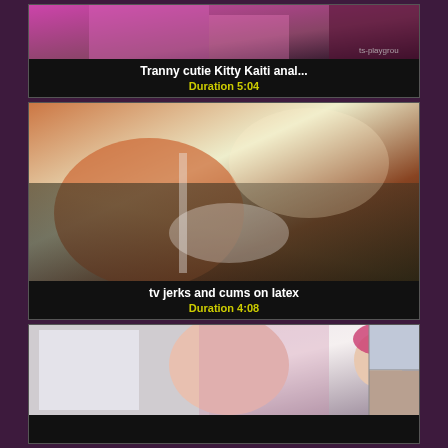[Figure (screenshot): Video thumbnail showing pink fishnet and skin tones with watermark ts-playgrou]
Tranny cutie Kitty Kaiti anal...
Duration 5:04
[Figure (screenshot): Video thumbnail showing latex and skin tones, close-up scene]
tv jerks and cums on latex
Duration 4:08
[Figure (screenshot): Video thumbnail showing a person with pink hair looking at camera]